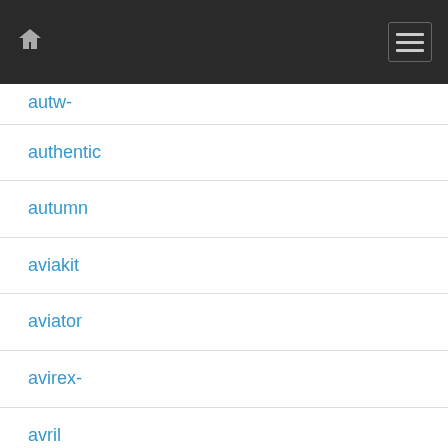home menu
autw-
authentic
autumn
aviakit
aviator
avirex-
avril
awesome
awoke
axcx
aztecs
banana
barbour